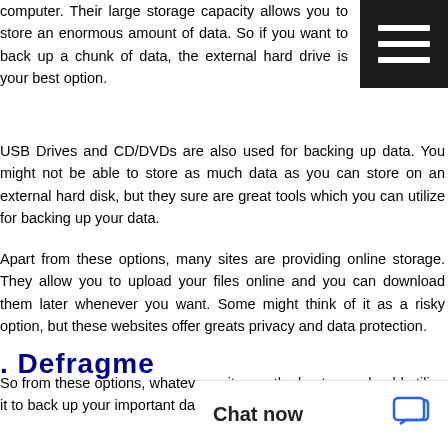computer. Their large storage capacity allows you to store an enormous amount of data. So if you want to back up a chunk of data, the external hard drive is your best option.
USB Drives and CD/DVDs are also used for backing up data. You might not be able to store as much data as you can store on an external hard disk, but they sure are great tools which you can utilize for backing up your data.
Apart from these options, many sites are providing online storage. They allow you to upload your files online and you can download them later whenever you want. Some might think of it as a risky option, but these websites offer greats privacy and data protection.
So from these options, whatever suits you the best, you should utilize it to back up your important data.
. Defragme